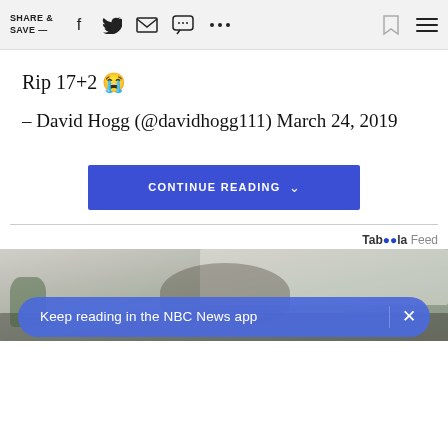SHARE & SAVE —
Rip 17+2 😢
– David Hogg (@davidhogg111) March 24, 2019
CONTINUE READING ∨
Taboola Feed
[Figure (photo): Photo of a person relaxing in bed with a white brick wall background]
Keep reading in the NBC News app